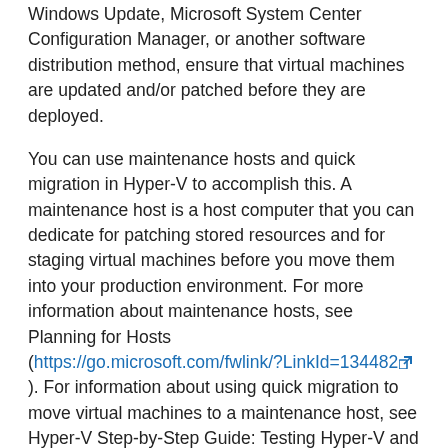Windows Update, Microsoft System Center Configuration Manager, or another software distribution method, ensure that virtual machines are updated and/or patched before they are deployed.
You can use maintenance hosts and quick migration in Hyper-V to accomplish this. A maintenance host is a host computer that you can dedicate for patching stored resources and for staging virtual machines before you move them into your production environment. For more information about maintenance hosts, see Planning for Hosts (https://go.microsoft.com/fwlink/?LinkId=134482). For information about using quick migration to move virtual machines to a maintenance host, see Hyper-V Step-by-Step Guide: Testing Hyper-V and Failover Clustering (https://go.microsoft.com/fwlink/?LinkId=134481).